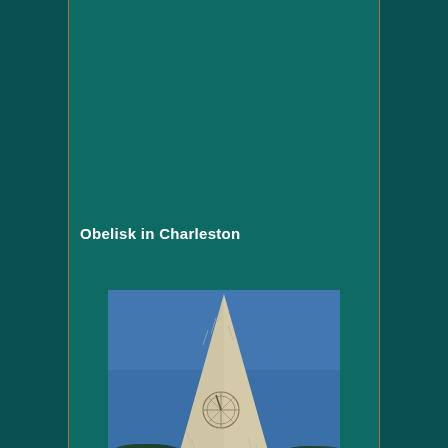Obelisk in Charleston
[Figure (photo): Photograph of a tall stone obelisk monument shot from below against a blue sky, with a sundial or compass rose carved near the middle of the structure and trees visible at the lower sides.]